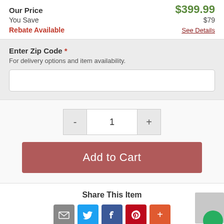Our Price   $399.99
You Save   $79
Rebate Available   See Details
Enter Zip Code *
For delivery options and item availability.
1
Add to Cart
Share This Item
[Figure (other): Social share icons: Email, Twitter, Facebook, Pinterest, More]